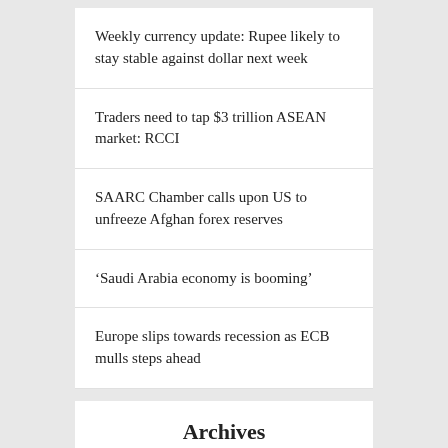Weekly currency update: Rupee likely to stay stable against dollar next week
Traders need to tap $3 trillion ASEAN market: RCCI
SAARC Chamber calls upon US to unfreeze Afghan forex reserves
‘Saudi Arabia economy is booming’
Europe slips towards recession as ECB mulls steps ahead
Archives
August 2022